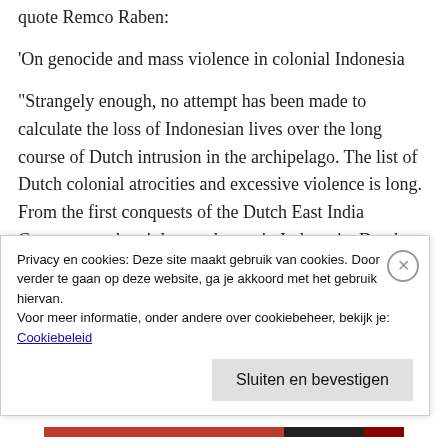quote Remco Raben:
'On genocide and mass violence in colonial Indonesia
“Strangely enough, no attempt has been made to calculate the loss of Indonesian lives over the long course of Dutch intrusion in the archipelago. The list of Dutch colonial atrocities and excessive violence is long. From the first conquests of the Dutch East India Company to the violent endgame in Indonesia, Dutch armies
Privacy en cookies: Deze site maakt gebruik van cookies. Door verder te gaan op deze website, ga je akkoord met het gebruik hiervan.
Voor meer informatie, onder andere over cookiebeheer, bekijk je:
Cookiebeleid

Sluiten en bevestigen